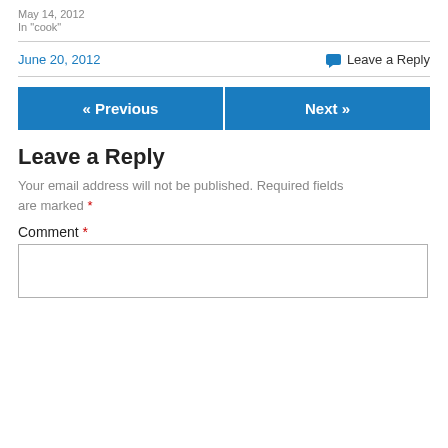May 14, 2012
In "cook"
June 20, 2012
💬 Leave a Reply
« Previous
Next »
Leave a Reply
Your email address will not be published. Required fields are marked *
Comment *